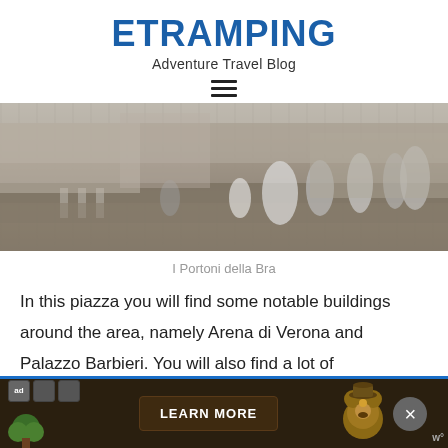ETRAMPING
Adventure Travel Blog
[Figure (photo): Street scene showing pedestrians walking near I Portoni della Bra in Verona, Italy. Buildings visible in background.]
I Portoni della Bra
In this piazza you will find some notable buildings around the area, namely Arena di Verona and Palazzo Barbieri. You will also find a lot of restaurants, cafes, and gelato shops, but the one right on the piazza is very expensive. You can
[Figure (other): Advertisement banner with brown background, Smokey Bear mascot, LEARN MORE button, and tree/nature icons.]